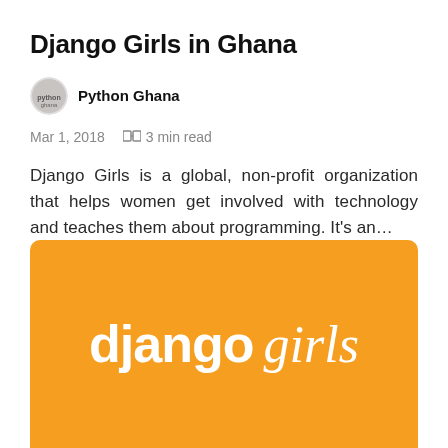Django Girls in Ghana
Python Ghana
Mar 1, 2018   🕮 3 min read
Django Girls is a global, non-profit organization that helps women get involved with technology and teaches them about programming. It's an...
[Figure (logo): Django Girls logo on orange background with 'django' in bold white and 'girls' in light italic white text]